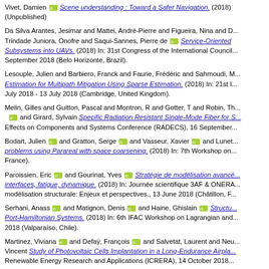Vivet, Damien [orcid] Scene understanding : Toward a Safer Navigation. (2018) (Unpublished)
Da Silva Arantes, Jesimar and Mattei, André-Pierre and Figueira, Nina and D... Trindade Juniora, Onofre and Saqui-Sannes, Pierre de [orcid] Service-Oriented Subsystems into UAVs. (2018) In: 31st Congress of the International Council... September 2018 (Belo Horizonte, Brazil).
Lesouple, Julien and Barbiero, Franck and Faurie, Frédéric and Sahmoudi, M... Estimation for Multipath Mitigation Using Sparse Estimation. (2018) In: 21st I... July 2018 - 13 July 2018 (Cambridge, United Kingdom).
Melin, Gilles and Guitton, Pascal and Montron, R and Gotter, T and Robin, Th... [orcid] and Girard, Sylvain Specific Radiation Resistant Single-Mode Fiber for S... Effects on Components and Systems Conference (RADECS), 16 September...
Bodart, Julien [orcid] and Gratton, Serge [orcid] and Vasseur, Xavier [orcid] and Lunet... problems using Parareal with space coarsening. (2018) In: 7th Workshop on... France).
Paroissien, Eric [orcid] and Gourinat, Yves [orcid] Stratégie de modélisation avancé... interfaces, fatigue, dynamique. (2018) In: Journée scientifique 3AF & ONERA... modélisation structurale: Enjeux et perspectives., 13 June 2018 (Châtillon, F...
Serhani, Anass [orcid] and Matignon, Denis [orcid] and Haine, Ghislain [orcid] Structu... Port-Hamiltonian Systems. (2018) In: 6th IFAC Workshop on Lagrangian and... 2018 (Valparaíso, Chile).
Martinez, Viviana [orcid] and Defaÿ, François [orcid] and Salvetat, Laurent and Neu... Vincent Study of Photovoltaic Cells Implantation in a Long-Endurance Airpla... Renewable Energy Research and Applications (ICRERA), 14 October 2018...